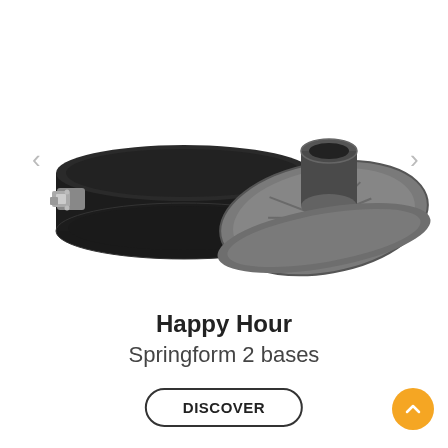[Figure (photo): A dark non-stick springform pan with two bases — a flat base and a fluted bundt-style insert — shown side by side on a white background. The pan has a silver metal clip/latch on the side.]
Happy Hour
Springform 2 bases
DISCOVER